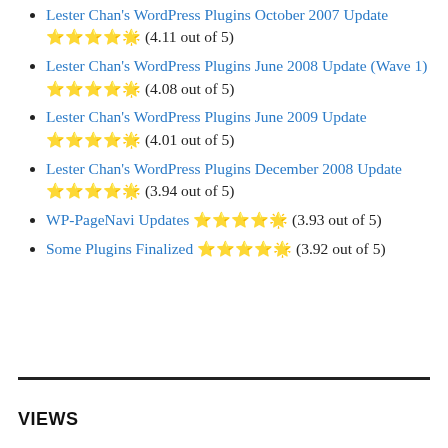Lester Chan's WordPress Plugins October 2007 Update ⭐⭐⭐⭐☆ (4.11 out of 5)
Lester Chan's WordPress Plugins June 2008 Update (Wave 1) ⭐⭐⭐⭐☆ (4.08 out of 5)
Lester Chan's WordPress Plugins June 2009 Update ⭐⭐⭐⭐☆ (4.01 out of 5)
Lester Chan's WordPress Plugins December 2008 Update ⭐⭐⭐⭐☆ (3.94 out of 5)
WP-PageNavi Updates ⭐⭐⭐⭐☆ (3.93 out of 5)
Some Plugins Finalized ⭐⭐⭐⭐☆ (3.92 out of 5)
VIEWS